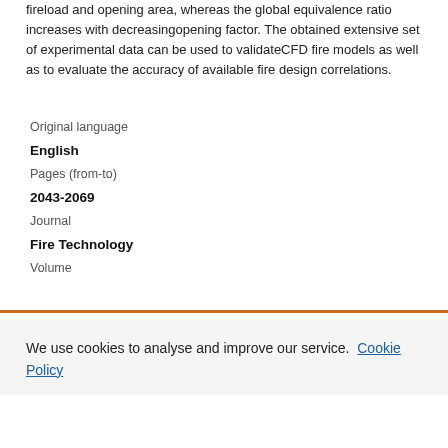fireload and opening area, whereas the global equivalence ratio increases with decreasingopening factor. The obtained extensive set of experimental data can be used to validateCFD fire models as well as to evaluate the accuracy of available fire design correlations.
| Original language |  |
| English |  |
| Pages (from-to) |  |
| 2043-2069 |  |
| Journal |  |
| Fire Technology |  |
| Volume |  |
We use cookies to analyse and improve our service. Cookie Policy